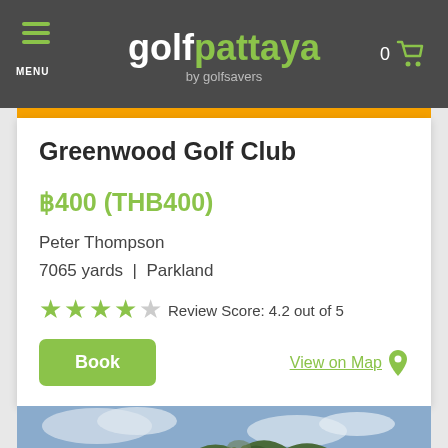MENU | golfpattaya by golfsavers | 0
Greenwood Golf Club
฿400 (THB400)
Peter Thompson
7065 yards | Parkland
Review Score: 4.2 out of 5
Book | View on Map
[Figure (photo): Mountain landscape with green forested hills and cloudy sky]